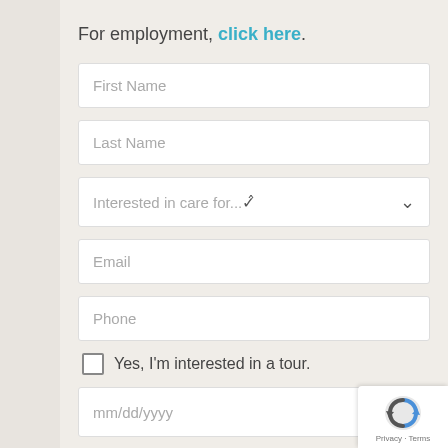For employment, click here.
First Name
Last Name
Interested in care for...
Email
Phone
Yes, I'm interested in a tour.
mm/dd/yyyy
Time
Questions/Concerns?